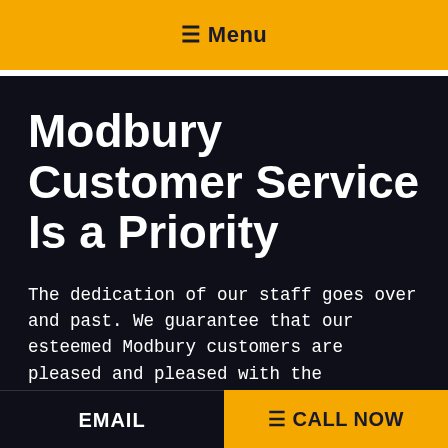☰ Menu
Modbury Customer Service Is a Priority
The dedication of our staff goes over and past. We guarantee that our esteemed Modbury customers are pleased and pleased with the excellent services that our licensed electricians provide.
We conduct our work in a professional
EMAIL   ☰ CALL NOW